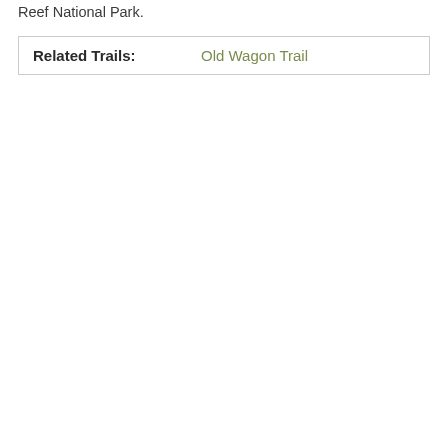Reef National Park.
| Related Trails: | Old Wagon Trail |
| --- | --- |